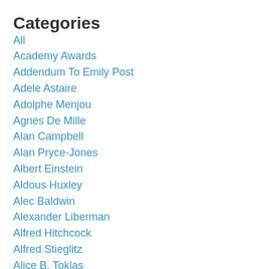Categories
All
Academy Awards
Addendum To Emily Post
Adele Astaire
Adolphe Menjou
Agnes De Mille
Alan Campbell
Alan Pryce-Jones
Albert Einstein
Aldous Huxley
Alec Baldwin
Alexander Liberman
Alfred Hitchcock
Alfred Stieglitz
Alice B. Toklas
Alice Princess Andrew Of Greece
Alice Roosevelt Longworth
Alison Jackson